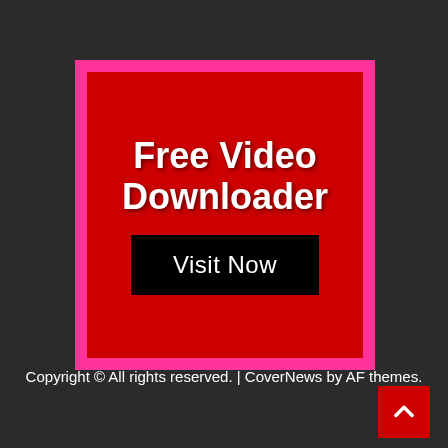[Figure (other): Advertisement banner with pink border, red background, white text reading 'Free Video Downloader' and a black 'Visit Now' button]
Copyright © All rights reserved. | CoverNews by AF themes.